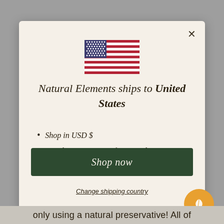[Figure (illustration): US flag SVG illustration]
Natural Elements ships to United States
Shop in USD $
Get shipping options for United States
Shop now
Change shipping country
only using a natural preservative! All of